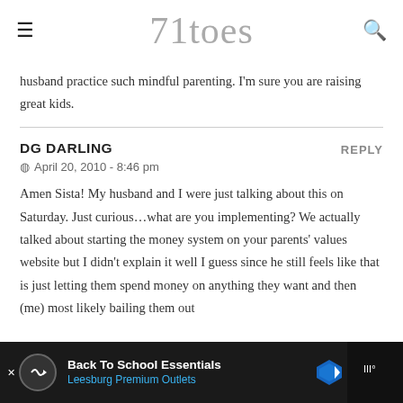71toes
husband practice such mindful parenting. I'm sure you are raising great kids.
DG DARLING
April 20, 2010 - 8:46 pm
Amen Sista! My husband and I were just talking about this on Saturday. Just curious…what are you implementing? We actually talked about starting the money system on your parents' values website but I didn't explain it well I guess since he still feels like that is just letting them spend money on anything they want and then (me) most likely bailing them out
[Figure (screenshot): Advertisement banner at bottom: Back To School Essentials - Leesburg Premium Outlets]